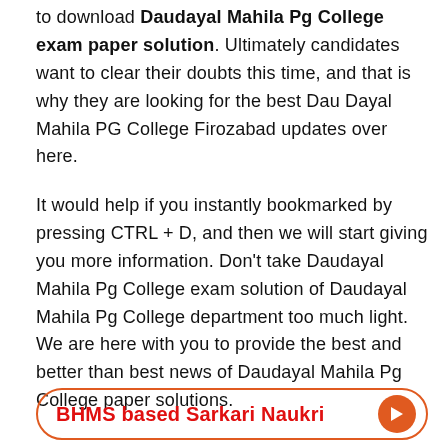to download Daudayal Mahila Pg College exam paper solution. Ultimately candidates want to clear their doubts this time, and that is why they are looking for the best Dau Dayal Mahila PG College Firozabad updates over here.
It would help if you instantly bookmarked by pressing CTRL + D, and then we will start giving you more information. Don't take Daudayal Mahila Pg College exam solution of Daudayal Mahila Pg College department too much light. We are here with you to provide the best and better than best news of Daudayal Mahila Pg College paper solutions.
BHMS based Sarkari Naukri →